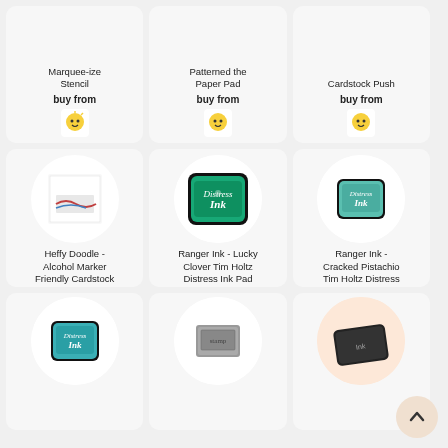[Figure (screenshot): Product grid showing crafting supplies - 3 column layout with 3 rows of product cards. Row 1 (partial): Marquee-ize Stencil, Patterned Paper Pad, Cardstock Push. Row 2: Heffy Doodle Alcohol Marker Friendly Cardstock, Ranger Ink Lucky Clover Tim Holtz Distress Ink Pad, Ranger Ink Cracked Pistachio Tim Holtz Distress Ink Pad. Row 3 (partial): Distress Ink pad (blue-green), stamp/label product, black ink pad. All cards show 'buy from' with store icons (sunny creature, deer, S-logo, WSA logo).]